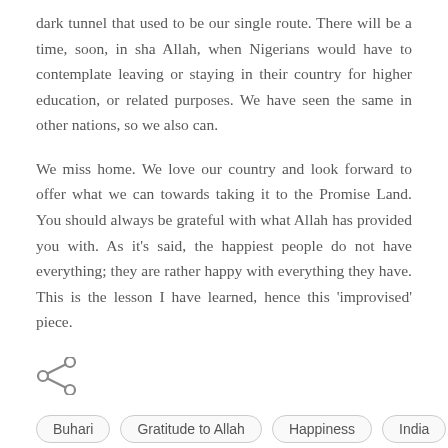dark tunnel that used to be our single route. There will be a time, soon, in sha Allah, when Nigerians would have to contemplate leaving or staying in their country for higher education, or related purposes. We have seen the same in other nations, so we also can.
We miss home. We love our country and look forward to offer what we can towards taking it to the Promise Land. You should always be grateful with what Allah has provided you with. As it's said, the happiest people do not have everything; they are rather happy with everything they have. This is the lesson I have learned, hence this 'improvised' piece.
[Figure (other): Share icon (less-than style arrow with two circles)]
Buhari
Gratitude to Allah
Happiness
India
Islam
Marriage
Nigeria